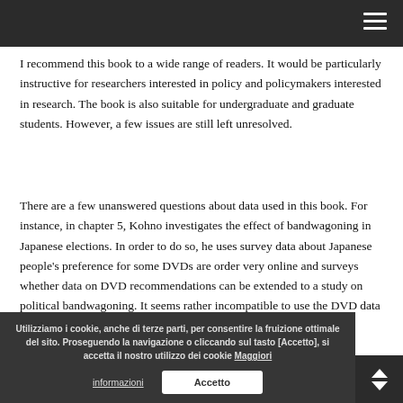I recommend this book to a wide range of readers. It would be particularly instructive for researchers interested in policy and policymakers interested in research. The book is also suitable for undergraduate and graduate students. However, a few issues are still left unresolved.
There are a few unanswered questions about data used in this book. For instance, in chapter 5, Kohno investigates the effect of bandwagoning in Japanese elections. In order to do so, he uses survey data about Japanese people's preference for some DVDs are order very online and surveys whether data on DVD recommendations can be extended to a study on political bandwagoning. It seems rather incompatible to use the DVD data for this research.